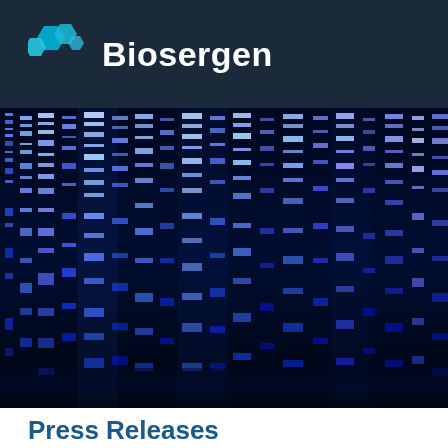[Figure (logo): Biosergen company logo with teal hexagon icons and white text on dark navy background]
[Figure (photo): DNA sequencing gel electrophoresis image showing blue-lit bands on dark background, representing genomic sequencing patterns]
Press Releases